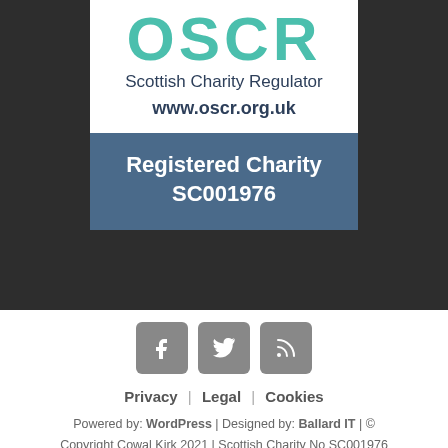[Figure (logo): OSCR - Scottish Charity Regulator logo badge with teal letters, www.oscr.org.uk, and Registered Charity SC001976 on blue background]
[Figure (infographic): Three social media icon buttons: Facebook (f), Twitter (bird), RSS feed icons in grey rounded squares]
Privacy | Legal | Cookies
Powered by: WordPress | Designed by: Ballard IT | © Copyright Cowal Kirk 2021 | Scottish Charity No SC001976